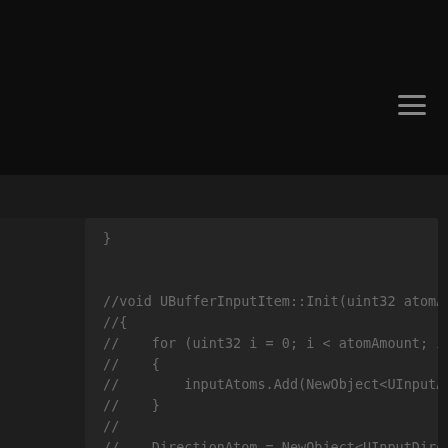[Figure (screenshot): Dark-themed code editor screenshot showing commented-out C++ code for UBufferInputItem class methods. Top bar is black with hamburger menu icon. Code panel shows commented void UBufferInputItem::Init function with loop and NewObject calls, followed by XML doc comments for UpdateInputItem function and the beginning of void UBufferInputItem::UpdateInputItem(uint32) declaration.]